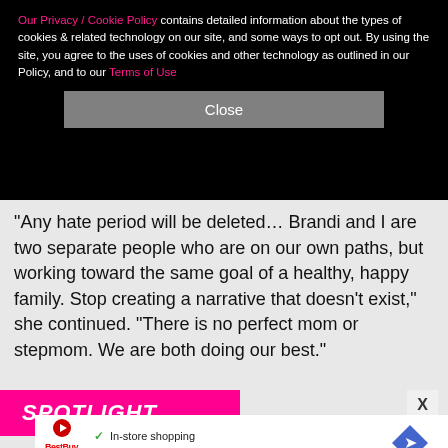Our Privacy / Cookie Policy contains detailed information about the types of cookies & related technology on our site, and some ways to opt out. By using the site, you agree to the uses of cookies and other technology as outlined in our Policy, and to our Terms of Use
Close
"Any hate period will be deleted… Brandi and I are two separate people who are on our own paths, but working toward the same goal of a healthy, happy family. Stop creating a narrative that doesn't exist," she continued. "There is no perfect mom or stepmom. We are both doing our best."
SPOTLIGHT
X
In-store shopping  Curbside pickup  Delivery